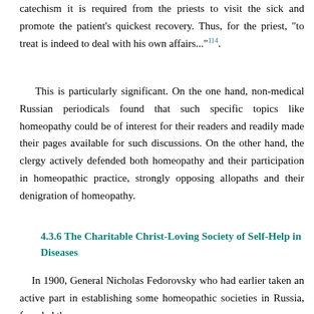catechism it is required from the priests to visit the sick and promote the patient's quickest recovery. Thus, for the priest, "to treat is indeed to deal with his own affairs..."114.
This is particularly significant. On the one hand, non-medical Russian periodicals found that such specific topics like homeopathy could be of interest for their readers and readily made their pages available for such discussions. On the other hand, the clergy actively defended both homeopathy and their participation in homeopathic practice, strongly opposing allopaths and their denigration of homeopathy.
4.3.6 The Charitable Christ-Loving Society of Self-Help in Diseases
In 1900, General Nicholas Fedorovsky who had earlier taken an active part in establishing some homeopathic societies in Russia, founded the